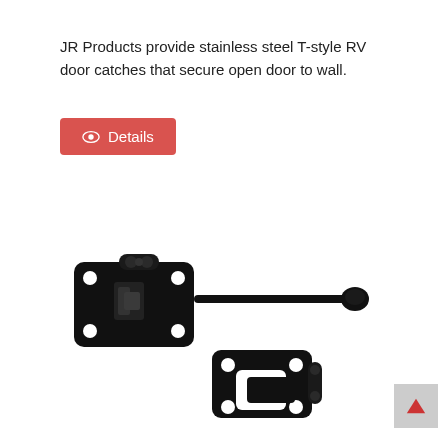JR Products provide stainless steel T-style RV door catches that secure open door to wall.
[Figure (screenshot): Red button with eye icon and text 'Details']
[Figure (photo): Black T-style RV door catch hardware set consisting of a latch plate with hinge and a long rod with knob, plus a separate receiver plate with C-shaped slot, all in black finish.]